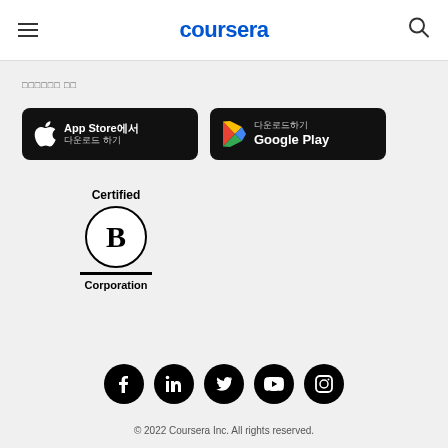coursera
모바일 앱 다운
[Figure (screenshot): App Store에서 다운로드 하기 button (black, rounded)]
[Figure (screenshot): 다운로드하기 Google Play button (black, rounded)]
[Figure (logo): Certified B Corporation logo]
[Figure (logo): Social media icons: Facebook, LinkedIn, Twitter, YouTube, Instagram]
© 2022 Coursera Inc. All rights reserved.